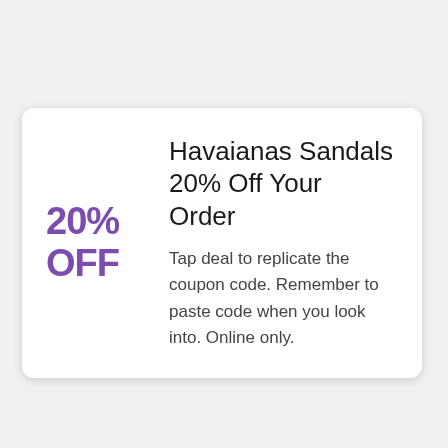Havaianas Sandals 20% Off Your Order
20% OFF
Tap deal to replicate the coupon code. Remember to paste code when you look into. Online only.